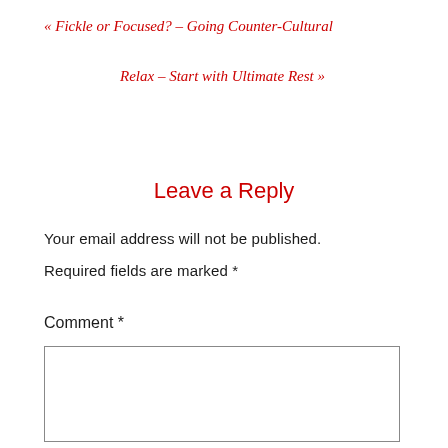« Fickle or Focused? – Going Counter-Cultural
Relax – Start with Ultimate Rest »
Leave a Reply
Your email address will not be published.
Required fields are marked *
Comment *